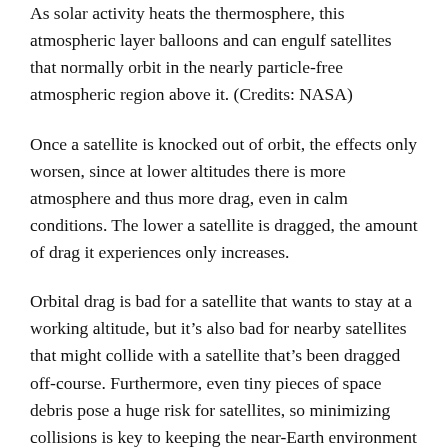As solar activity heats the thermosphere, this atmospheric layer balloons and can engulf satellites that normally orbit in the nearly particle-free atmospheric region above it. (Credits: NASA)
Once a satellite is knocked out of orbit, the effects only worsen, since at lower altitudes there is more atmosphere and thus more drag, even in calm conditions. The lower a satellite is dragged, the amount of drag it experiences only increases.
Orbital drag is bad for a satellite that wants to stay at a working altitude, but it's also bad for nearby satellites that might collide with a satellite that's been dragged off-course. Furthermore, even tiny pieces of space debris pose a huge risk for satellites, so minimizing collisions is key to keeping the near-Earth environment a functional space for satellites.
“The idea is, if we know how intense the storm is, and how long this storm will last, we can more precisely track the satellite position,” Oliveira said. “This will help